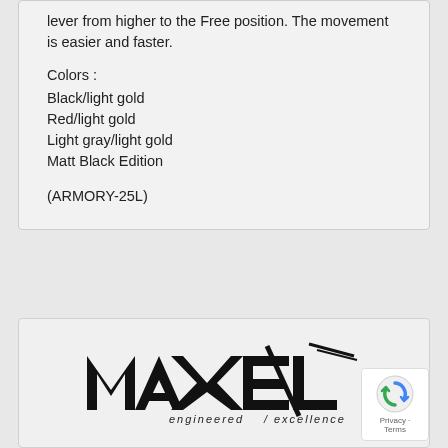lever from higher to the Free position. The movement is easier and faster.
Colors :
Black/light gold
Red/light gold
Light gray/light gold
Matt Black Edition
(ARMORY-25L)
[Figure (logo): MAXEL engineered/excellence logo in black on light gray background]
[Figure (other): reCAPTCHA badge with Privacy and Terms links]